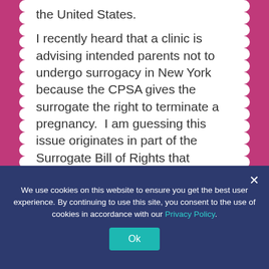the United States.
I recently heard that a clinic is advising intended parents not to undergo surrogacy in New York because the CPSA gives the surrogate the right to terminate a pregnancy.  I am guessing this issue originates in part of the Surrogate Bill of Rights that addresses the surrogate's right to make decisions about her healthcare.  I have news for you folks.  All surrogates have the exclusive right to choose to terminate a pregnancy or refuse to terminate a pregnancy.  United States Constitutional
We use cookies on this website to ensure you get the best user experience. By continuing to use this site, you consent to the use of cookies in accordance with our Privacy Policy.